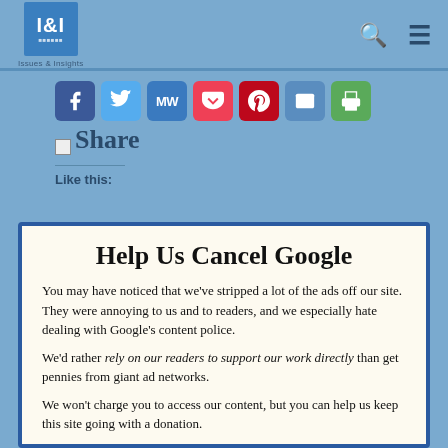Issues & Insights
[Figure (screenshot): Social media share buttons: Facebook, Twitter, MW, Pocket, Pinterest, Email, Print]
Share
Like this:
Help Us Cancel Google
You may have noticed that we've stripped a lot of the ads off our site. They were annoying to us and to readers, and we especially hate dealing with Google's content police.
We'd rather rely on our readers to support our work directly than get pennies from giant ad networks.
We won't charge you to access our content, but you can help us keep this site going with a donation.